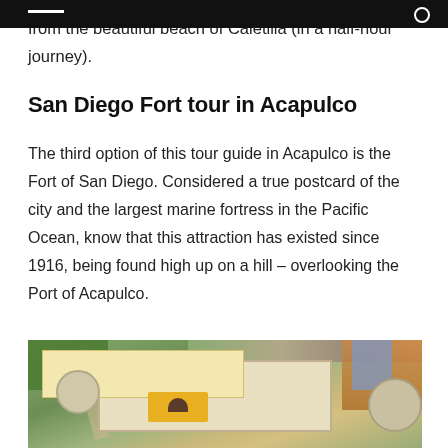from the beautiful beach of Caletilla (in a half-hour journey).
San Diego Fort tour in Acapulco
The third option of this tour guide in Acapulco is the Fort of San Diego. Considered a true postcard of the city and the largest marine fortress in the Pacific Ocean, know that this attraction has existed since 1916, being found high up on a hill – overlooking the Port of Acapulco.
[Figure (photo): Aerial photograph of the Fort of San Diego in Acapulco, showing the star-shaped fortification with a yellow central building, surrounded by trees and urban buildings.]